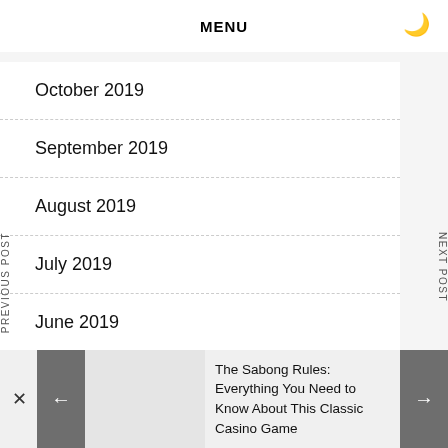MENU
October 2019
September 2019
August 2019
July 2019
June 2019
PREVIOUS POST
NEXT POST
The Sabong Rules: Everything You Need to Know About This Classic Casino Game